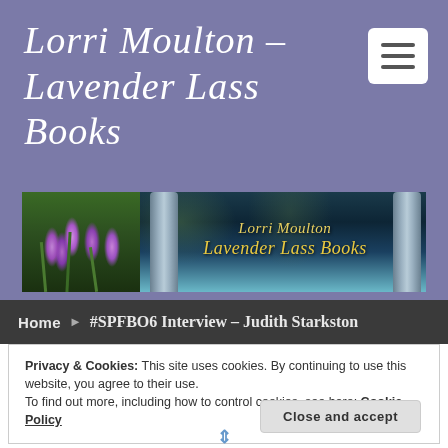Lorri Moulton – Lavender Lass Books
[Figure (photo): Banner image with lavender flowers on the left and stone columns/archway with teal sky on the right, overlaid with gold italic text reading 'Lorri Moulton Lavender Lass Books']
Home ▶ #SPFBO6 Interview – Judith Starkston
Privacy & Cookies: This site uses cookies. By continuing to use this website, you agree to their use.
To find out more, including how to control cookies, see here: Cookie Policy
Close and accept